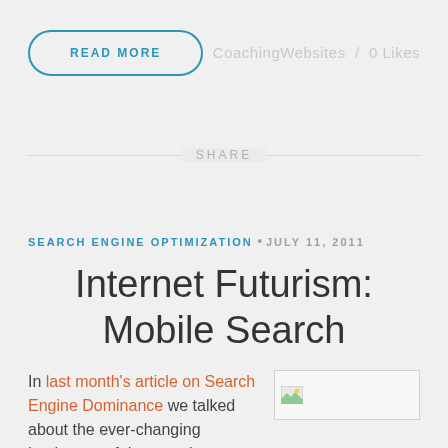READ MORE
CoachingWebsites / 0 Likes
SHARE
SEARCH ENGINE OPTIMIZATION • JULY 11, 2011
Internet Futurism: Mobile Search
In last month's article on Search Engine Dominance we talked about the ever-changing landscape of the search
[Figure (photo): Small image placeholder with landscape icon]